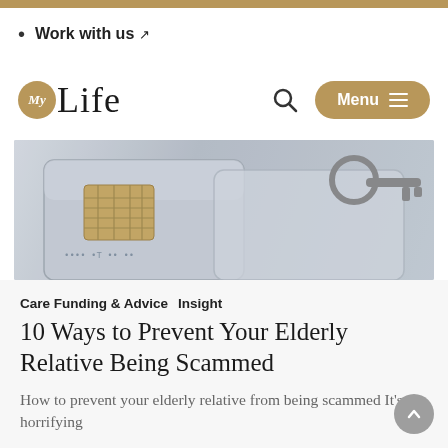Work with us ↗
[Figure (logo): MyLife logo — circular gold badge with 'My', followed by 'Life' in serif font]
[Figure (photo): Close-up photo of a credit card with a gold chip and a padlock/key on top, symbolizing financial security/fraud]
Care Funding & Advice  Insight
10 Ways to Prevent Your Elderly Relative Being Scammed
How to prevent your elderly relative from being scammed It's horrifying